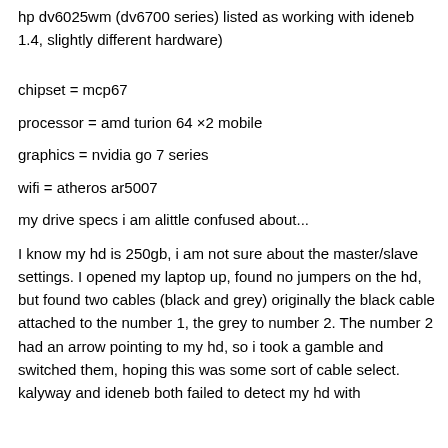hp dv6025wm (dv6700 series) listed as working with ideneb 1.4, slightly different hardware)
chipset = mcp67
processor = amd turion 64 ×2 mobile
graphics = nvidia go 7 series
wifi = atheros ar5007
my drive specs i am alittle confused about...
I know my hd is 250gb, i am not sure about the master/slave settings. I opened my laptop up, found no jumpers on the hd, but found two cables (black and grey) originally the black cable attached to the number 1, the grey to number 2. The number 2 had an arrow pointing to my hd, so i took a gamble and switched them, hoping this was some sort of cable select. kalyway and ideneb both failed to detect my hd with